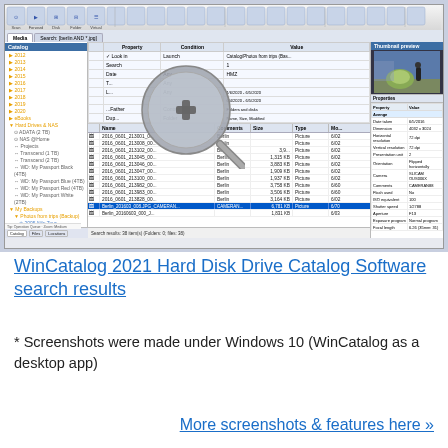[Figure (screenshot): WinCatalog 2021 Hard Disk Drive Catalog Software showing search results with a catalog tree on the left, an advanced search panel and file list in the center, and file properties panel on the right. A magnifying glass icon with a plus sign overlays the center panel. A thumbnail photo is visible in the properties panel.]
WinCatalog 2021 Hard Disk Drive Catalog Software search results
* Screenshots were made under Windows 10 (WinCatalog as a desktop app)
More screenshots & features here »